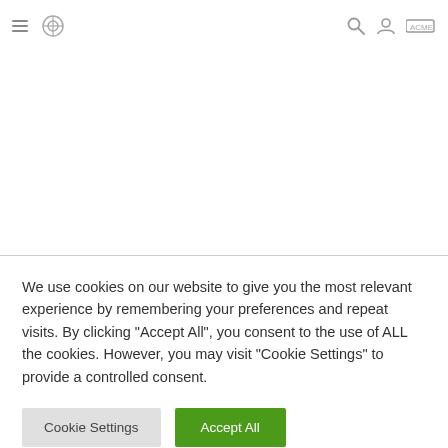[Navigation header with hamburger menu, logo icon, search icon, and user/account icon]
We use cookies on our website to give you the most relevant experience by remembering your preferences and repeat visits. By clicking “Accept All”, you consent to the use of ALL the cookies. However, you may visit "Cookie Settings" to provide a controlled consent.
Cookie Settings
Accept All